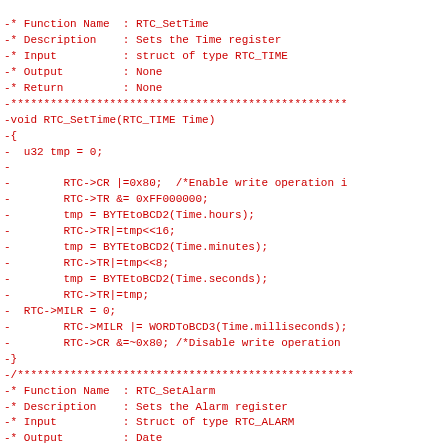-* Function Name  : RTC_SetTime
-* Description    : Sets the Time register
-* Input          : struct of type RTC_TIME
-* Output         : None
-* Return         : None
-***************************************************
-void RTC_SetTime(RTC_TIME Time)
-{
-  u32 tmp = 0;
-
-        RTC->CR |=0x80;  /*Enable write operation i
-        RTC->TR &= 0xFF000000;
-        tmp = BYTEtoBCD2(Time.hours);
-        RTC->TR|=tmp<<16;
-        tmp = BYTEtoBCD2(Time.minutes);
-        RTC->TR|=tmp<<8;
-        tmp = BYTEtoBCD2(Time.seconds);
-        RTC->TR|=tmp;
-  RTC->MILR = 0;
-        RTC->MILR |= WORDToBCD3(Time.milliseconds);
-        RTC->CR &=~0x80; /*Disable write operation
-}
-/***************************************************
-* Function Name  : RTC_SetAlarm
-* Description    : Sets the Alarm register
-* Input          : Struct of type RTC_ALARM
-* Output         : Date
-* Return         : None
-***************************************************
-void RTC_SetAlarm(RTC_ALARM Alarm)